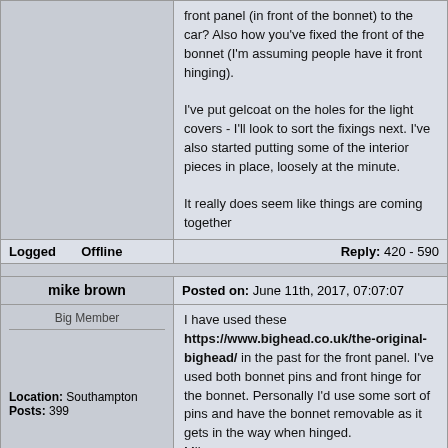front panel (in front of the bonnet) to the car? Also how you've fixed the front of the bonnet (I'm assuming people have it front hinging).

I've put gelcoat on the holes for the light covers - I'll look to sort the fixings next. I've also started putting some of the interior pieces in place, loosely at the minute.

It really does seem like things are coming together
Logged    Offline    Reply: 420 - 590
mike brown
Posted on: June 11th, 2017, 07:07:07
Big Member
I have used these https://www.bighead.co.uk/the-original-bighead/ in the past for the front panel. I've used both bonnet pins and front hinge for the bonnet. Personally I'd use some sort of pins and have the bonnet removable as it gets in the way when hinged.
Mike
Location: Southampton
Posts: 399
Logged    Offline    Reply: 421 - 590
Neil KilBane
Posted on: June 11th, 2017, 10:02:37